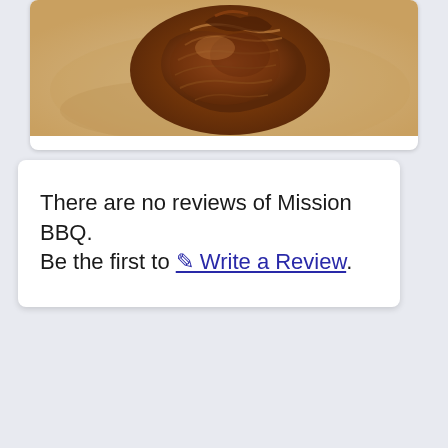[Figure (photo): Close-up photo of BBQ pulled meat on a surface, top portion cropped]
There are no reviews of Mission BBQ. Be the first to ✎ Write a Review.